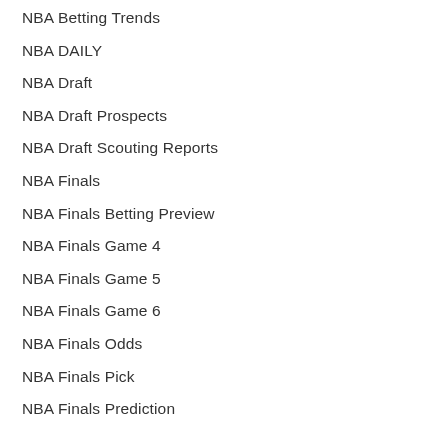NBA Betting Trends
NBA DAILY
NBA Draft
NBA Draft Prospects
NBA Draft Scouting Reports
NBA Finals
NBA Finals Betting Preview
NBA Finals Game 4
NBA Finals Game 5
NBA Finals Game 6
NBA Finals Odds
NBA Finals Pick
NBA Finals Prediction